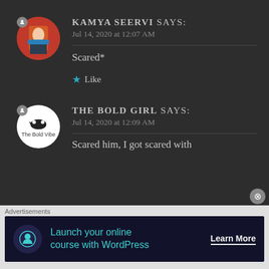KAMYA SEERVI says:
Jul 14, 2020 at 12:07 AM
Scared*
★ Like
THE BOLD GIRL says:
Jul 14, 2020 at 12:09 AM
Scared him, I got scared with
Advertisements
Launch your online course with WordPress  Learn More